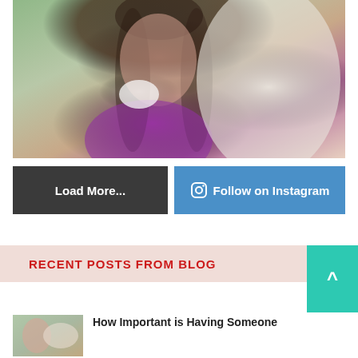[Figure (photo): Woman in purple blouse holding a white coffee cup, smiling, with another person in foreground (blurred, seen from behind)]
Load More...
Follow on Instagram
RECENT POSTS FROM BLOG
[Figure (photo): Small thumbnail image of a blog post]
How Important is Having Someone